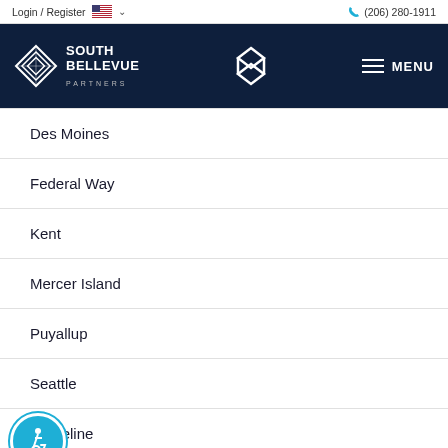Login / Register  (206) 280-1911
[Figure (logo): South Bellevue Partners logo with diamond geometric icon and navigation bar with hamburger menu]
Des Moines
Federal Way
Kent
Mercer Island
Puyallup
Seattle
Shoreline
[Figure (illustration): Accessibility badge icon (blue circle with wheelchair user symbol)]